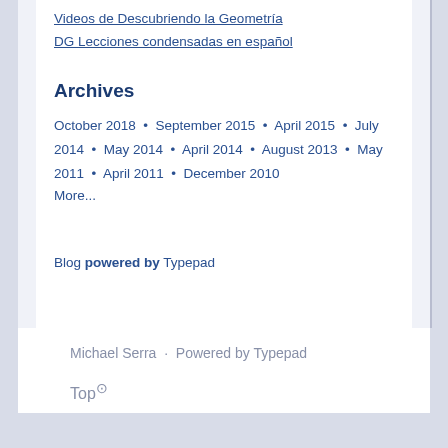Videos de Descubriendo la Geometría
DG Lecciones condensadas en español
Archives
October 2018 • September 2015 • April 2015 • July 2014 • May 2014 • April 2014 • August 2013 • May 2011 • April 2011 • December 2010
More...
Blog powered by Typepad
Michael Serra · Powered by Typepad
Top↑